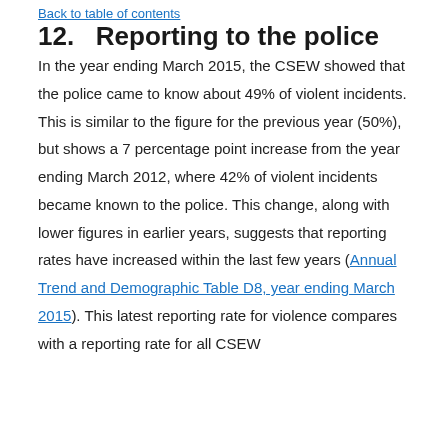Back to table of contents
12.   Reporting to the police
In the year ending March 2015, the CSEW showed that the police came to know about 49% of violent incidents. This is similar to the figure for the previous year (50%), but shows a 7 percentage point increase from the year ending March 2012, where 42% of violent incidents became known to the police. This change, along with lower figures in earlier years, suggests that reporting rates have increased within the last few years (Annual Trend and Demographic Table D8, year ending March 2015). This latest reporting rate for violence compares with a reporting rate for all CSEW